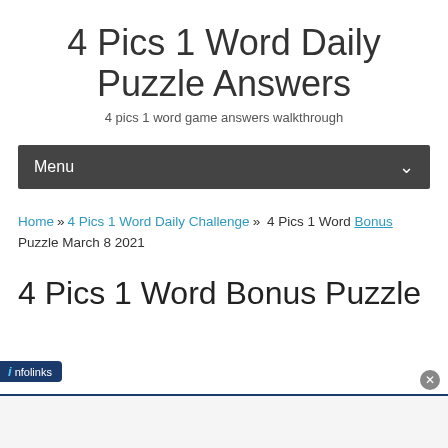4 Pics 1 Word Daily Puzzle Answers
4 pics 1 word game answers walkthrough
Menu
Home » 4 Pics 1 Word Daily Challenge » 4 Pics 1 Word Bonus Puzzle March 8 2021
4 Pics 1 Word Bonus Puzzle